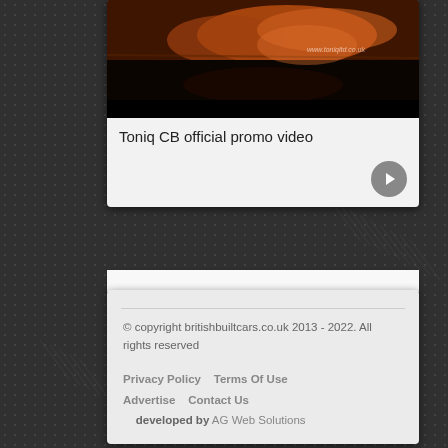[Figure (screenshot): Video thumbnail for Toniq CB official promo video showing an aerial landscape scene with orange/autumn colors and a watermark reading www.toniqltd.co.uk]
Toniq CB official promo video
© copyright britishbuiltcars.co.uk 2013 - 2022. All rights reserved
Privacy Policy   Terms Of Use
Advertise   Contact Us
developed by AG Web Solutions